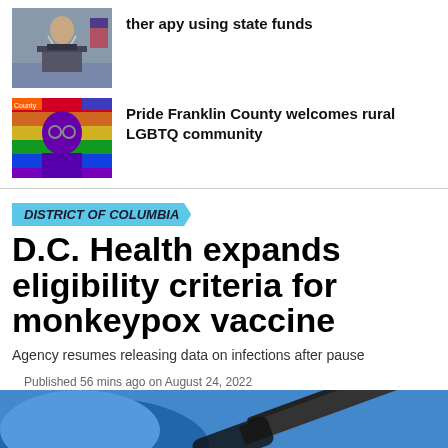[Figure (photo): Thumbnail photo of a politician at a podium with microphones, American flag in background]
therapy using state funds
[Figure (illustration): Colorful illustration of Benjamin Franklin styled in rainbow pride colors with sunglasses, Pride Franklin County logo]
Pride Franklin County welcomes rural LGBTQ community
DISTRICT OF COLUMBIA
D.C. Health expands eligibility criteria for monkeypox vaccine
Agency resumes releasing data on infections after pause
Published 56 mins ago on August 24, 2022
By Lou Chibbaro Jr.
[Figure (photo): Bottom strip photo showing a close-up of a blue-gloved hand and a syringe/needle]